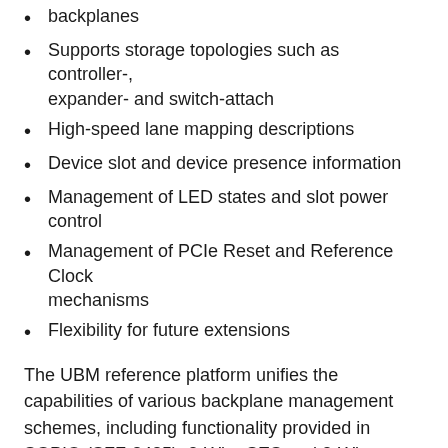backplanes
Supports storage topologies such as controller-, expander- and switch-attach
High-speed lane mapping descriptions
Device slot and device presence information
Management of LED states and slot power control
Management of PCIe Reset and Reference Clock mechanisms
Flexibility for future extensions
The UBM reference platform unifies the capabilities of various backplane management schemes, including functionality provided in SGPIO (SFF-8485), 2-Wire SES and 2-Wire PCA9555 usages. UBM (SFF-TA-1005) is driven out of the SNIA SFF Technology Affiliate (TA) Technical Work Group (TWG). The “Specification for Universal Backplane Management (UBM)” can be found at http://www.snia.org/sff/specifications.